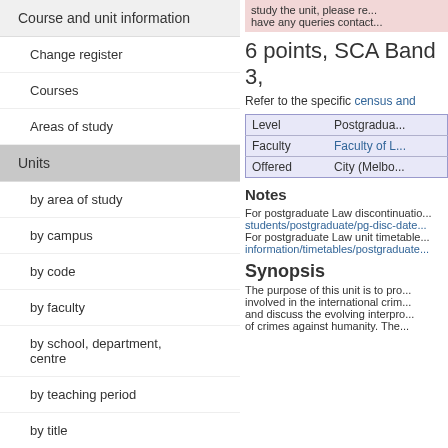Course and unit information
Change register
Courses
Areas of study
Units
by area of study
by campus
by code
by faculty
by school, department, centre
by teaching period
by title
by Monash Passport
study the unit, please re... have any queries contact...
6 points, SCA Band 3,
Refer to the specific census and
| Level | Postgradua... |
| --- | --- |
| Faculty | Faculty of L... |
| Offered | City (Melbo... |
Notes
For postgraduate Law discontinuatio... students/postgraduate/pg-disc-date... For postgraduate Law unit timetable... information/timetables/postgraduate...
Synopsis
The purpose of this unit is to pro... involved in the international crim... and discuss the evolving interpro... of crimes against humanity. The...